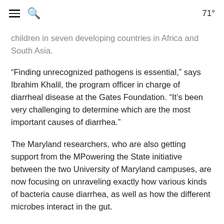≡ 🔍  71°
children in seven developing countries in Africa and South Asia.
“Finding unrecognized pathogens is essential,” says Ibrahim Khalil, the program officer in charge of diarrheal disease at the Gates Foundation. “It’s been very challenging to determine which are the most important causes of diarrhea.”
The Maryland researchers, who are also getting support from the MPowering the State initiative between the two University of Maryland campuses, are now focusing on unraveling exactly how various kinds of bacteria cause diarrhea, as well as how the different microbes interact in the gut.
“There’s a huge community of bacteria in us and on us. We need to learn more about them,” says Pop. “It’s